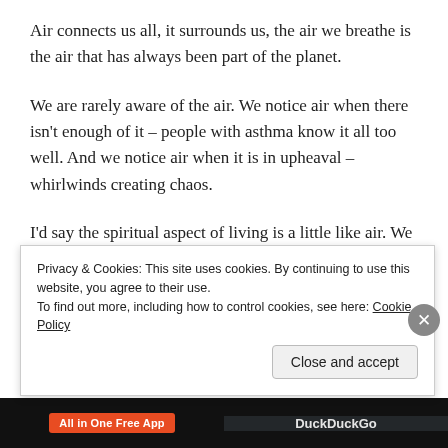Air connects us all, it surrounds us, the air we breathe is the air that has always been part of the planet.
We are rarely aware of the air. We notice air when there isn't enough of it – people with asthma know it all too well. And we notice air when it is in upheaval – whirlwinds creating chaos.
I'd say the spiritual aspect of living is a little like air. We notice when it's missing and our lives feel constricting and tight. We notice when life is too intense and blowing us about. It's why many people when they first come to
Privacy & Cookies: This site uses cookies. By continuing to use this website, you agree to their use.
To find out more, including how to control cookies, see here: Cookie Policy
Close and accept
All in One Free App
DuckDuckGo